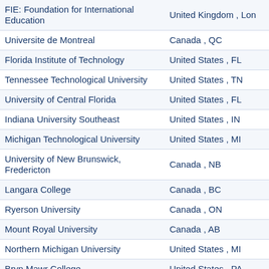| Institution | Location |
| --- | --- |
| FIE: Foundation for International Education | United Kingdom , Lon |
| Universite de Montreal | Canada , QC |
| Florida Institute of Technology | United States , FL |
| Tennessee Technological University | United States , TN |
| University of Central Florida | United States , FL |
| Indiana University Southeast | United States , IN |
| Michigan Technological University | United States , MI |
| University of New Brunswick, Fredericton | Canada , NB |
| Langara College | Canada , BC |
| Ryerson University | Canada , ON |
| Mount Royal University | Canada , AB |
| Northern Michigan University | United States , MI |
| Bryn Mawr College | United States , PA |
| Franklin W. Olin College of Engineering | United States , MA |
| Central Community College | United States , NE |
| Saint Michael's College | United States , VT |
| California State University, Dominiguez Hills | United States , CA |